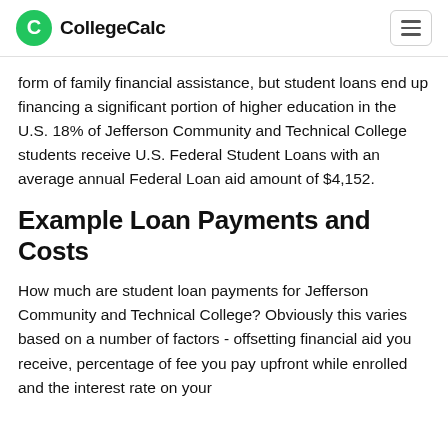CollegeCalc
form of family financial assistance, but student loans end up financing a significant portion of higher education in the U.S. 18% of Jefferson Community and Technical College students receive U.S. Federal Student Loans with an average annual Federal Loan aid amount of $4,152.
Example Loan Payments and Costs
How much are student loan payments for Jefferson Community and Technical College? Obviously this varies based on a number of factors - offsetting financial aid you receive, percentage of fee you pay upfront while enrolled and the interest rate on your